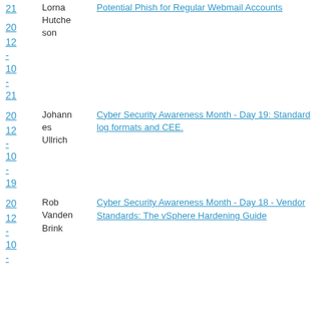20 12 - 10 - 21 | Lorna Hutcheson | Potential Phish for Regular Webmail Accounts
20 12 - 10 - 19 | Johannes Ullrich | Cyber Security Awareness Month - Day 19: Standard log formats and CEE.
20 12 - 10 - (partial) | Rob Vanden Brink | Cyber Security Awareness Month - Day 18 - Vendor Standards: The vSphere Hardening Guide